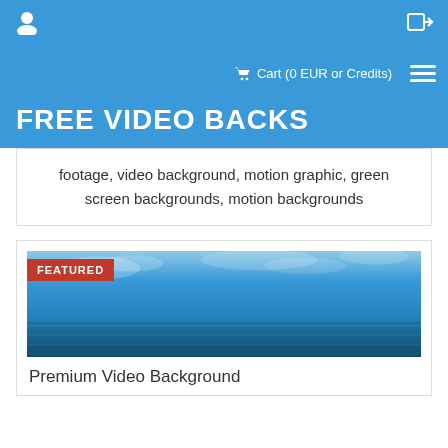User icon | Login icon
Cart (0 EUR or Credits) | Menu
FREE VIDEO BACKS
footage, video background, motion graphic, green screen backgrounds, motion backgrounds
[Figure (photo): Ocean water with blue sky and clouds, FEATURED badge overlay]
Premium Video Background